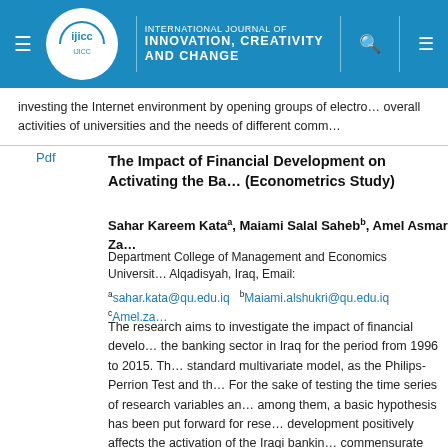INTERNATIONAL JOURNAL OF INNOVATION, CREATIVITY AND CHANGE
investing the Internet environment by opening groups of electronic overall activities of universities and the needs of different comm...
The Impact of Financial Development on Activating the Ba... (Econometrics Study)
Sahar Kareem Kataa, Maiami Salal Sahebb, Amel Asmar Za...
Department College of Management and Economics University Alqadisyah, Iraq, Email:
asahar.kata@qu.edu.iq  bMaiami.alshukri@qu.edu.iq  cAmel.za...
The research aims to investigate the impact of financial develo... the banking sector in Iraq for the period from 1996 to 2015. Th... standard multivariate model, as the Philips-Perrion Test and th... For the sake of testing the time series of research variables an... among them, a basic hypothesis has been put forward for rese... development positively affects the activation of the Iraqi bankin... commensurate with the rapid and successive changes and dev... the modern business environment, and has been applied in a s... the focus was on Rafidain and Rashid and other banks in the d... testing the research hypothesis, a standard multivariate model...